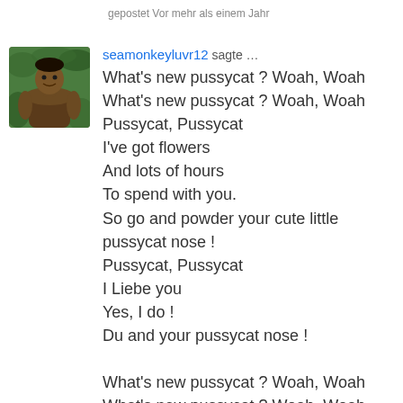gepostet Vor mehr als einem Jahr
[Figure (photo): Profile photo of a muscular man outdoors in a tropical setting]
seamonkeyluvr12 sagte …
What's new pussycat ? Woah, Woah
What's new pussycat ? Woah, Woah
Pussycat, Pussycat
I've got flowers
And lots of hours
To spend with you.
So go and powder your cute little pussycat nose !
Pussycat, Pussycat
I Liebe you
Yes, I do !
Du and your pussycat nose !

What's new pussycat ? Woah, Woah
What's new pussycat ? Woah, Woah

Pussycat, Pussycat
You're so thrilling
And I'm so willing